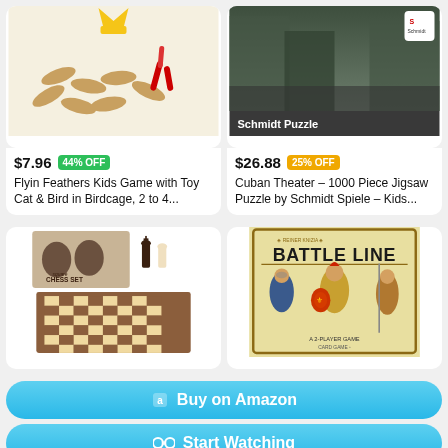[Figure (photo): Flyin Feathers Kids Game with Toy Cat and Bird pieces displayed on a light background]
$7.96  44% OFF
Flyin Feathers Kids Game with Toy Cat & Bird in Birdcage, 2 to 4...
[Figure (photo): Schmidt Puzzle product image showing Cuban Theater jigsaw puzzle box with street scene photo and Schmidt logo]
$26.88  25% OFF
Cuban Theater – 1000 Piece Jigsaw Puzzle by Schmidt Spiele – Kids...
[Figure (photo): Chess set product image showing wooden chess board with pieces and chess set box with two rearing horses]
[Figure (photo): Battle Line card game box showing roman soldiers]
🛒 Buy on Amazon
👓 Start Watching